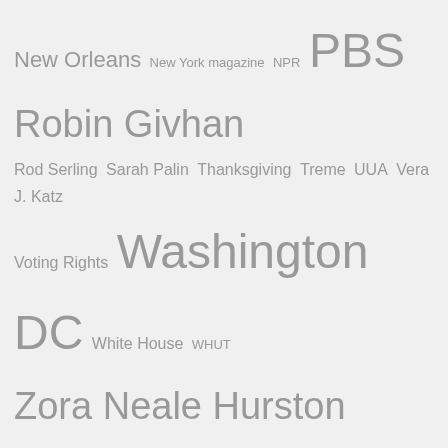New Orleans  New York magazine  NPR  PBS  Robin Givhan  Rod Serling  Sarah Palin  Thanksgiving  Treme  UUA  Vera J. Katz  Voting Rights  Washington DC  White House  WHUT  Zora Neale Hurston
Blogroll
"THE AUDACITY OF DISPAIR" – A BLOG BY DAVID SIMON
DAILY KOS
DAVID LEBOVITZ: LIVING THE SWEET LIFE IN PARIS
ETHELBERT MILLER (POET)
GAURAVONOMICS BLOG
IN DEFENSE OF BLUE
JACK AND JILL POLITICS